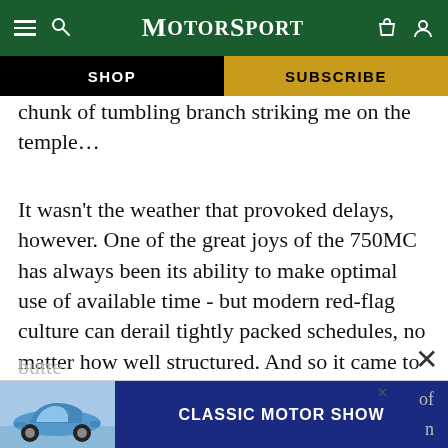MotorSport — SHOP | SUBSCRIBE
chunk of tumbling branch striking me on the temple...
It wasn't the weather that provoked delays, however. One of the great joys of the 750MC has always been its ability to make optimal use of available time - but modern red-flag culture can derail tightly packed schedules, no matter how well structured. And so it came to pass, although the occasional silences permitted greater appreciation of the surrounding land… of butte… n
[Figure (screenshot): Classic Motor Show advertisement banner at bottom of page showing a blue Porsche 911 and navy blue banner with white text 'CLASSIC MOTOR SHOW']